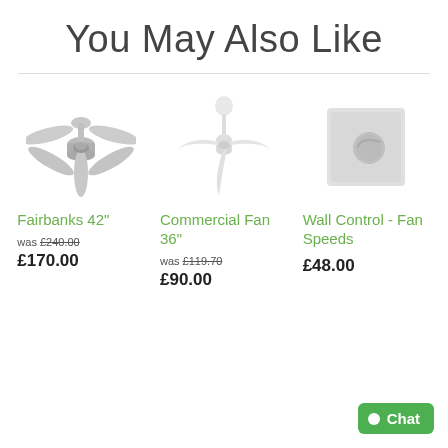You May Also Like
[Figure (illustration): Ceiling fan product image - Fairbanks 42 inch, brushed nickel finish with 5 blades]
Fairbanks 42"
was £240.00
£170.00
[Figure (illustration): Ceiling fan product image - Commercial Fan 36 inch, white finish with 3 blades]
Commercial Fan 36"
was £119.70
£90.00
[Figure (illustration): Wall control device - square white wall plate with circular knob/button]
Wall Control - Fan Speeds
£48.00